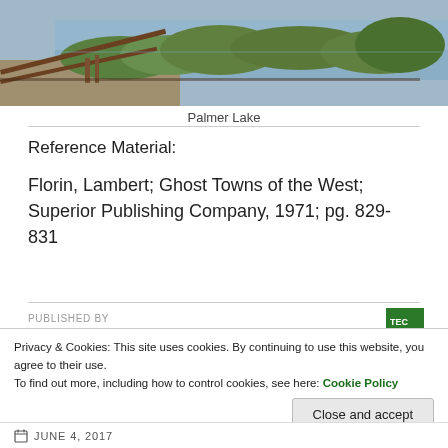[Figure (photo): Photograph of Palmer Lake showing railroad tracks or rails in foreground, brush and shrubs along the bank, and calm water reflecting the sky and vegetation.]
Palmer Lake
Reference Material:
Florin, Lambert; Ghost Towns of the West; Superior Publishing Company, 1971; pg. 829-831
PUBLISHED BY
Privacy & Cookies: This site uses cookies. By continuing to use this website, you agree to their use. To find out more, including how to control cookies, see here: Cookie Policy
Close and accept
JUNE 4, 2017